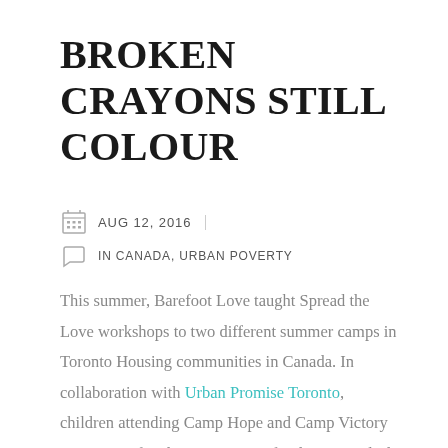BROKEN CRAYONS STILL COLOUR
AUG 12, 2016 | IN CANADA, URBAN POVERTY
This summer, Barefoot Love taught Spread the Love workshops to two different summer camps in Toronto Housing communities in Canada. In collaboration with Urban Promise Toronto, children attending Camp Hope and Camp Victory were given freedom to create. After learning a little about colour and texture, they started painting their own interpretation of Urban Promise's summer camp theme